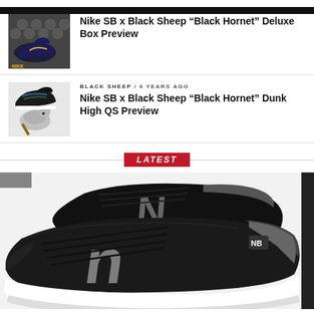[Figure (photo): Thumbnail of Nike SB x Black Sheep Black Hornet Deluxe Box sneaker product photo]
Nike SB x Black Sheep “Black Hornet” Deluxe Box Preview
[Figure (photo): Thumbnail of Nike SB x Black Sheep Black Hornet Dunk High QS sneaker with mouse prop]
BLACK SHEEP / 4 years ago
Nike SB x Black Sheep “Black Hornet” Dunk High QS Preview
LATEST
[Figure (photo): New Balance black suede skate sneakers with grey N logo, two shoes displayed on white background]
NEW BALANCE / 7 years ago